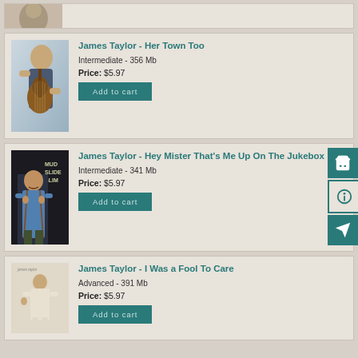[Figure (photo): Partial view of a person at top of page]
James Taylor - Her Town Too
Intermediate - 356 Mb
Price: $5.97
[Figure (photo): James Taylor holding acoustic guitar, gray background]
James Taylor - Hey Mister That's Me Up On The Jukebox
Intermediate - 341 Mb
Price: $5.97
[Figure (photo): Album cover: Mud Slide Slim, James Taylor in blue shirt]
James Taylor - I Was a Fool To Care
Advanced - 391 Mb
Price: $5.97
[Figure (photo): Album cover with person in white suit]